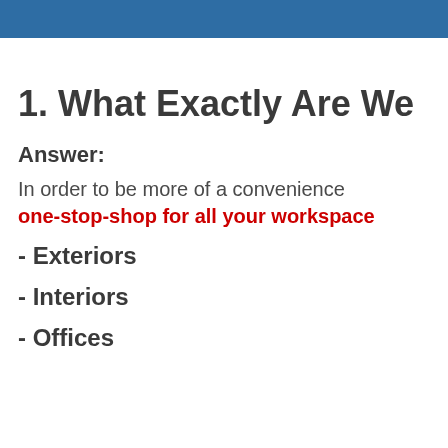1. What Exactly Are We
Answer:
In order to be more of a convenience one-stop-shop for all your workspace
- Exteriors
- Interiors
- Offices